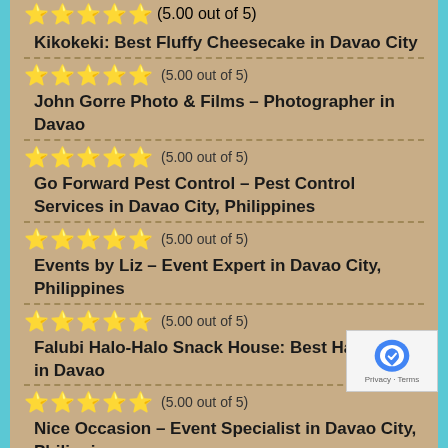⭐⭐⭐⭐⭐ (5.00 out of 5) Kikokeki: Best Fluffy Cheesecake in Davao City
⭐⭐⭐⭐⭐ (5.00 out of 5) John Gorre Photo & Films – Photographer in Davao
⭐⭐⭐⭐⭐ (5.00 out of 5) Go Forward Pest Control – Pest Control Services in Davao City, Philippines
⭐⭐⭐⭐⭐ (5.00 out of 5) Events by Liz – Event Expert in Davao City, Philippines
⭐⭐⭐⭐⭐ (5.00 out of 5) Falubi Halo-Halo Snack House: Best Halo-Halo in Davao
⭐⭐⭐⭐⭐ (5.00 out of 5) Nice Occasion – Event Specialist in Davao City, Philippines